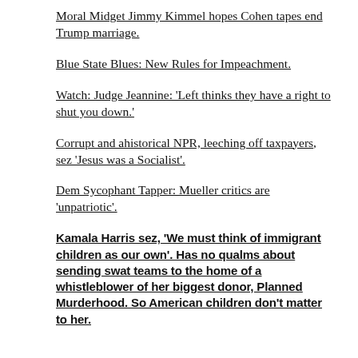Moral Midget Jimmy Kimmel hopes Cohen tapes end Trump marriage.
Blue State Blues: New Rules for Impeachment.
Watch: Judge Jeannine: 'Left thinks they have a right to shut you down.'
Corrupt and ahistorical NPR, leeching off taxpayers, sez 'Jesus was a Socialist'.
Dem Sycophant Tapper: Mueller critics are 'unpatriotic'.
Kamala Harris sez, 'We must think of immigrant children as our own'. Has no qualms about sending swat teams to the home of a whistleblower of her biggest donor, Planned Murderhood. So American children don't matter to her.